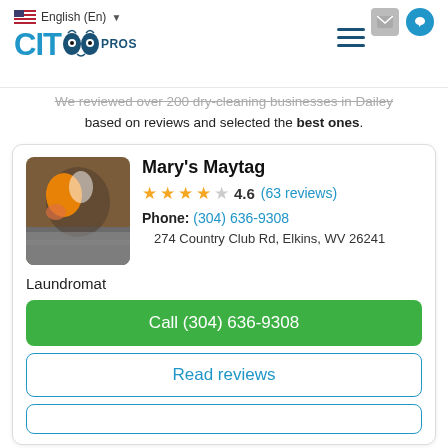English (En) — CityPros logo — navigation icons
based on reviews and selected the best ones.
Mary's Maytag
4.6  (63 reviews)
Phone: (304) 636-9308
274 Country Club Rd, Elkins, WV 26241
Laundromat
Call (304) 636-9308
Read reviews